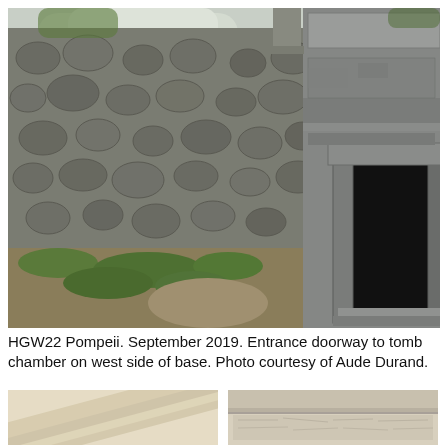[Figure (photo): Photograph of Pompeii archaeological site showing ancient stone walls with cobblestone construction and an entrance doorway to a tomb chamber on the right side. Grass and vegetation visible on the ground. Taken September 2019.]
HGW22 Pompeii. September 2019. Entrance doorway to tomb chamber on west side of base. Photo courtesy of Aude Durand.
[Figure (photo): Partial view of architectural detail or artifact, appears light/cream colored, close-up view.]
[Figure (photo): Partial view of ornate architectural stonework or carved relief detail, close-up.]